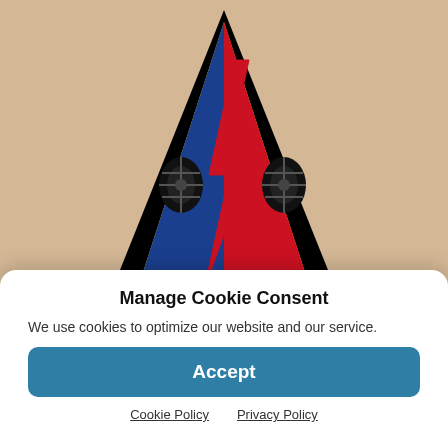[Figure (illustration): US Army Armored Forces triangular patch/emblem: a triangle divided into three colored sections (yellow top, blue lower-left, red lower-right) with a black outline. In the center is a red lightning bolt and two black tank treads/tracks forming a design. The emblem sits on a tan/beige background.]
Pvt. Donald Robert Henson was born on February 8, 1919, in Castoria, San Joaquin County, California, to Silas B. Henson and Luella Jones-Henson. He had three sisters
Manage Cookie Consent
We use cookies to optimize our website and our service.
Accept
Cookie Policy   Privacy Policy